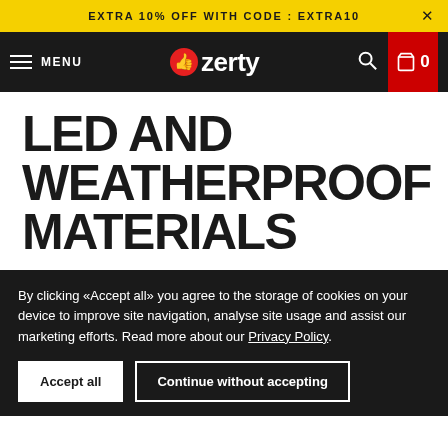EXTRA 10% OFF WITH CODE : EXTRA10
[Figure (screenshot): Ozerty website navigation bar with hamburger menu, MENU text, Ozerty logo with red thumbs-up icon, search icon, and red cart icon with 0]
LED AND WEATHERPROOF MATERIALS
Lightweight and adjustable, this LED-illuminated pet collar is comfortable and safe to use for your
By clicking «Accept all» you agree to the storage of cookies on your device to improve site navigation, analyse site usage and assist our marketing efforts. Read more about our Privacy Policy.
Accept all   Continue without accepting